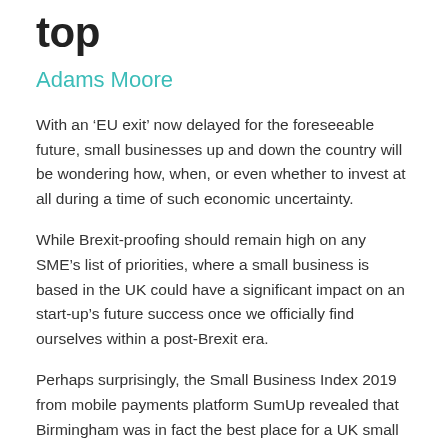top
Adams Moore
With an ‘EU exit’ now delayed for the foreseeable future, small businesses up and down the country will be wondering how, when, or even whether to invest at all during a time of such economic uncertainty.
While Brexit-proofing should remain high on any SME’s list of priorities, where a small business is based in the UK could have a significant impact on an start-up’s future success once we officially find ourselves within a post-Brexit era.
Perhaps surprisingly, the Small Business Index 2019 from mobile payments platform SumUp revealed that Birmingham was in fact the best place for a UK small business to be based.